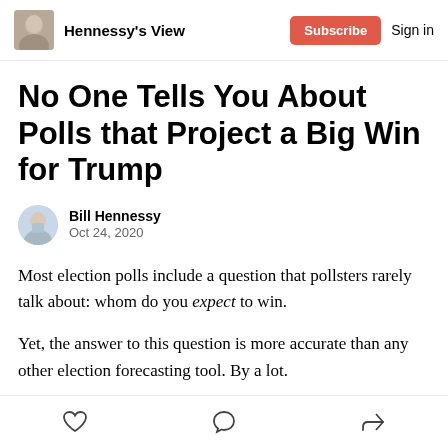Hennessy's View | Subscribe | Sign in
No One Tells You About Polls that Project a Big Win for Trump
Bill Hennessy
Oct 24, 2020
Most election polls include a question that pollsters rarely talk about: whom do you expect to win.
Yet, the answer to this question is more accurate than any other election forecasting tool. By a lot.
Like | Comment | Share